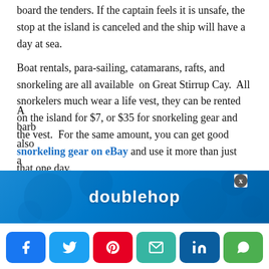board the tenders.  If the captain feels it is unsafe, the stop at the island is canceled and the ship will have a day at sea.
Boat rentals, para-sailing, catamarans, rafts, and snorkeling are all available  on Great Stirrup Cay.  All snorkelers much wear a life vest, they can be rented on the island for $7, or $35 for snorkeling gear and the vest.  For the same amount, you can get good snorkeling gear on eBay and use it more than just that one day.
[Figure (other): Advertisement banner for 'doublehop' with blue background and circular decorative elements]
A barb... also a sma... he